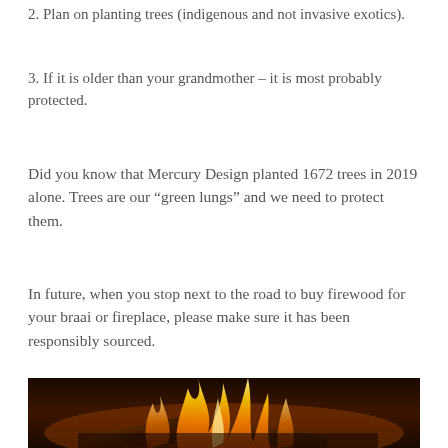2. Plan on planting trees (indigenous and not invasive exotics).
3. If it is older than your grandmother – it is most probably protected.
Did you know that Mercury Design planted 1672 trees in 2019 alone. Trees are our “green lungs” and we need to protect them.
In future, when you stop next to the road to buy firewood for your braai or fireplace, please make sure it has been responsibly sourced.
[Figure (photo): Close-up photo of burning firewood with bright orange and yellow flames against a dark background]